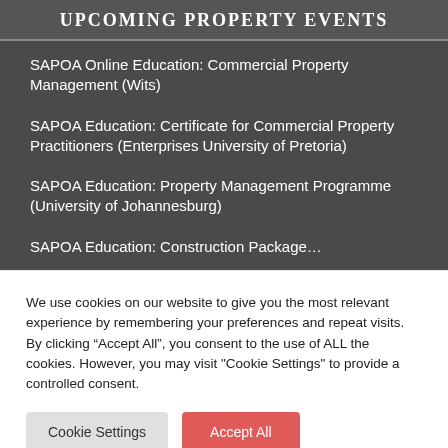UPCOMING PROPERTY EVENTS
SAPOA Online Education: Commercial Property Management (Wits)
SAPOA Education: Certificate for Commercial Property Practitioners (Enterprises University of Pretoria)
SAPOA Education: Property Management Programme (University of Johannesburg)
SAPOA Education: Construction Package...
We use cookies on our website to give you the most relevant experience by remembering your preferences and repeat visits. By clicking “Accept All”, you consent to the use of ALL the cookies. However, you may visit "Cookie Settings" to provide a controlled consent.
Cookie Settings | Accept All